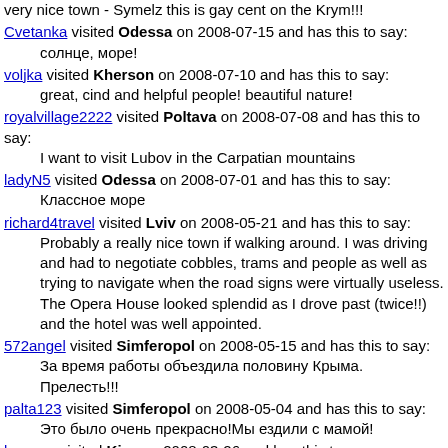very nice town - Symelz this is gay cent on the Krym!!!
Cvetanka visited Odessa on 2008-07-15 and has this to say: солнце, море!
voljka visited Kherson on 2008-07-10 and has this to say: great, cind and helpful people! beautiful nature!
royalvillage2222 visited Poltava on 2008-07-08 and has this to say: I want to visit Lubov in the Carpatian mountains
ladyN5 visited Odessa on 2008-07-01 and has this to say: Классное море
richard4travel visited Lviv on 2008-05-21 and has this to say: Probably a really nice town if walking around. I was driving and had to negotiate cobbles, trams and people as well as trying to navigate when the road signs were virtually useless. The Opera House looked splendid as I drove past (twice!!) and the hotel was well appointed.
572angel visited Simferopol on 2008-05-15 and has this to say: За время работы объездила половину Крыма. Прелесть!!!
palta123 visited Simferopol on 2008-05-04 and has this to say: Это было очень прекрасно!Мы ездили с мамой!
baroner visited Kiev on 2008-03-26 and has this to say: Saw my good friends while in KIev Zhanna, who i rented from and her husband Stephen King and her faher Nickolai. Saw many of my good friends at Fridays, Manarin Plaza and the shops on Lesy Ukrainey. Saw my friend Len Dixon who owns apartments and lives in Kiev from CA. and is an Artist, He introduced me to a new friend Don Thomson from Minnesota, who is a distinguished D